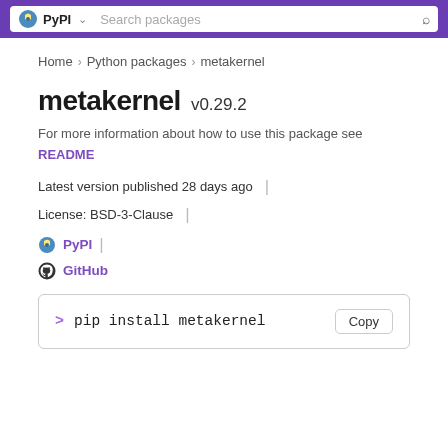PyPI  Search packages
Home > Python packages > metakernel
metakernel v0.29.2
For more information about how to use this package see README
Latest version published 28 days ago
License: BSD-3-Clause
PyPI
GitHub
> pip install metakernel  Copy